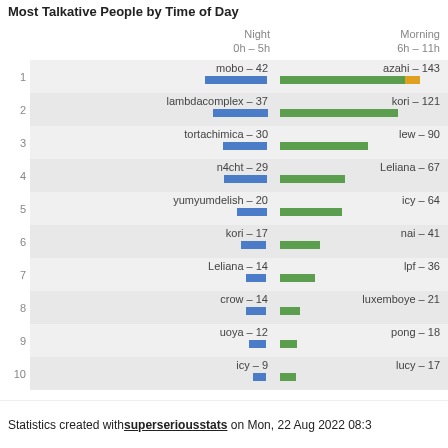Most Talkative People by Time of Day
[Figure (bar-chart): Most Talkative People by Time of Day]
Statistics created with superseriousstats on Mon, 22 Aug 2022 08:3